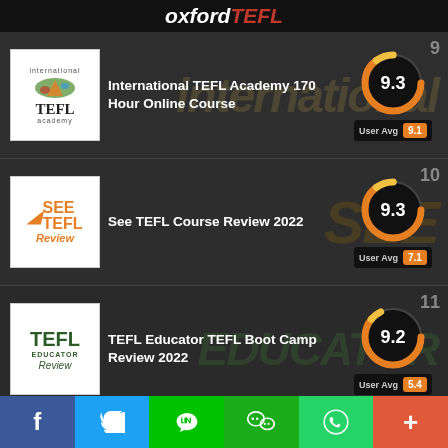oxford TEFL
9 | International TEFL Academy 170 Hour Online Course | Score: 9.3 | User Avg: 9.1
10 | See TEFL Course Review 2022 | Score: 9.3 | User Avg: 7.1
11 | TEFL Educator TEFL Boot Camp Review 2022 | Score: 9.2 | User Avg: 5.4